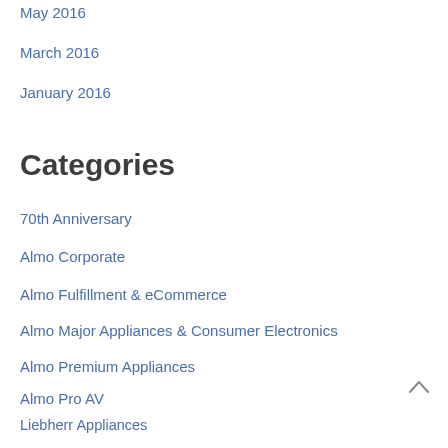May 2016
March 2016
January 2016
Categories
70th Anniversary
Almo Corporate
Almo Fulfillment & eCommerce
Almo Major Appliances & Consumer Electronics
Almo Premium Appliances
Almo Pro AV
Liebherr Appliances
PMC – Power Merchandising Company